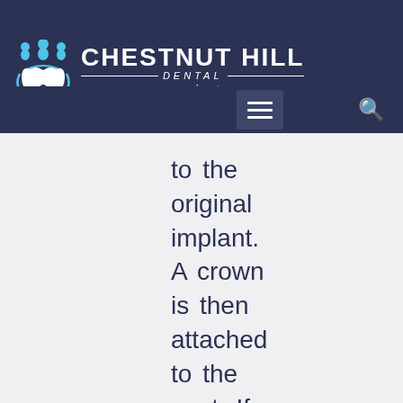[Figure (logo): Chestnut Hill Dental Associates logo with tooth icon and navigation bar on dark navy background]
to the original implant. A crown is then attached to the post. If there are multiple teeth